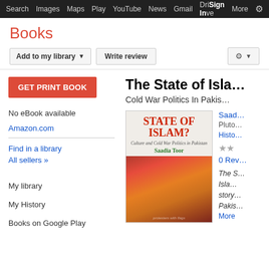Search  Images  Maps  Play  YouTube  News  Gmail  Drive  More  Sign In
Books
Add to my library ▾   Write review
GET PRINT BOOK
No eBook available
Amazon.com
Find in a library
All sellers »
My library
My History
Books on Google Play
[Figure (photo): Book cover for 'State of Islam? Culture and Cold War Politics in Pakistan' by Saadia Toor, showing protesters with orange flags]
The State of Isla...
Cold War Politics In Pakis...
Saad...
Pluto...
Histo...
0 Rev...
The S... Isla... story ... Pakis...
More